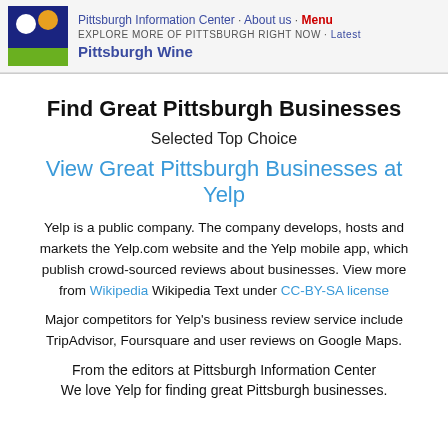Pittsburgh Information Center · About us · Menu | EXPLORE MORE OF PITTSBURGH RIGHT NOW · Latest | Pittsburgh Wine
Find Great Pittsburgh Businesses
Selected Top Choice
View Great Pittsburgh Businesses at Yelp
Yelp is a public company. The company develops, hosts and markets the Yelp.com website and the Yelp mobile app, which publish crowd-sourced reviews about businesses. View more from Wikipedia Wikipedia Text under CC-BY-SA license
Major competitors for Yelp's business review service include TripAdvisor, Foursquare and user reviews on Google Maps.
From the editors at Pittsburgh Information Center
We love Yelp for finding great Pittsburgh businesses.